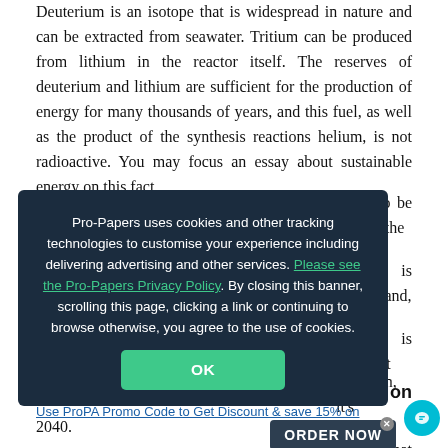Deuterium is an isotope that is widespread in nature and can be extracted from seawater. Tritium can be produced from lithium in the reactor itself. The reserves of deuterium and lithium are sufficient for the production of energy for many thousands of years, and this fuel, as well as the product of the synthesis reactions helium, is not radioactive. You may focus an essay about sustainable energy on this fact.
In addition to the deuterium-tritium reaction, which is the most…can also be used. …on is stricter and, …ogram is aimed at
…this direction, it's …aper that scientists …he first commercial …improvement of …nditures for the …for …financing. …ore 2…
[Figure (screenshot): Cookie consent overlay on a dark navy background. Text reads: 'Pro-Papers uses cookies and other tracking technologies to customise your experience including delivering advertising and other services. Please see the Pro-Papers Privacy Policy. By closing this banner, scrolling this page, clicking a link or continuing to browse otherwise, you agree to the use of cookies.' An OK button appears at the bottom.]
& save 15% on
2040.